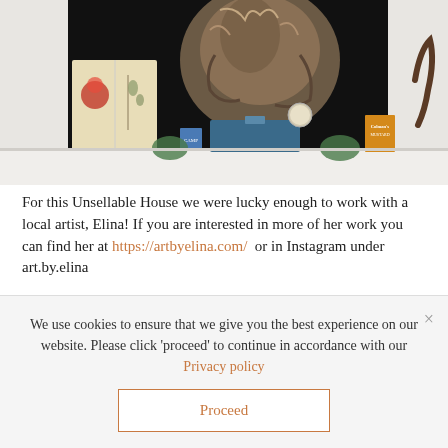[Figure (photo): A shelf scene with vintage botanical books open displaying pressed flowers and illustrations, a large dark painting of a cat/fox in background, a blue metal toolbox, vintage metal tins including Colman's mustard, a round clock, and dried plants on a white shelf.]
For this Unsellable House we were lucky enough to work with a local artist, Elina! If you are interested in more of her work you can find her at https://artbyelina.com/  or in Instagram under art.by.elina
We use cookies to ensure that we give you the best experience on our website. Please click 'proceed' to continue in accordance with our Privacy policy
Proceed